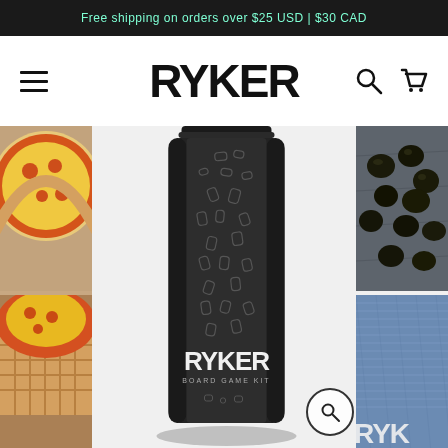Free shipping on orders over $25 USD | $30 CAD
[Figure (logo): RYKER brand logo in bold black sans-serif font, centered in navigation bar]
[Figure (photo): Center product shot: a tall narrow dark matte black pouch/bag labeled 'RYKER BOARD GAME KIT' with scattered small rectangular shapes on the packaging, photographed from above on white background]
[Figure (photo): Left strip: partially visible pizza food photography showing two slices/dishes with red tomato sauce and toppings, on wooden surface]
[Figure (photo): Right strip: partially visible photos - top shows dark olives on slate, bottom shows blue denim fabric texture, with partial RYKER text at bottom right corner]